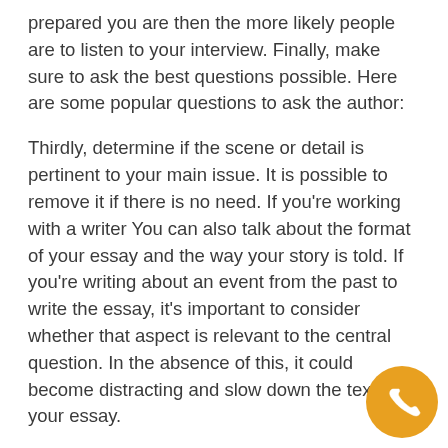prepared you are then the more likely people are to listen to your interview. Finally, make sure to ask the best questions possible. Here are some popular questions to ask the author:
Thirdly, determine if the scene or detail is pertinent to your main issue. It is possible to remove it if there is no need. If you're working with a writer You can also talk about the format of your essay and the way your story is told. If you're writing about an event from the past to write the essay, it's important to consider whether that aspect is relevant to the central question. In the absence of this, it could become distracting and slow down the text of your essay.
The steps to take
Your essay's body is where you will present your ideas, arguments and descriptions. The body paragraphs need to begin by introducing yourself